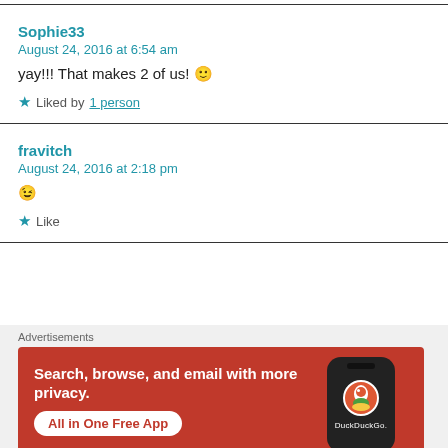Sophie33
August 24, 2016 at 6:54 am
yay!!! That makes 2 of us! 🙂
★ Liked by 1 person
fravitch
August 24, 2016 at 2:18 pm
😉
★ Like
[Figure (screenshot): DuckDuckGo advertisement banner: orange background with text 'Search, browse, and email with more privacy. All in One Free App' and an image of a phone with DuckDuckGo logo]